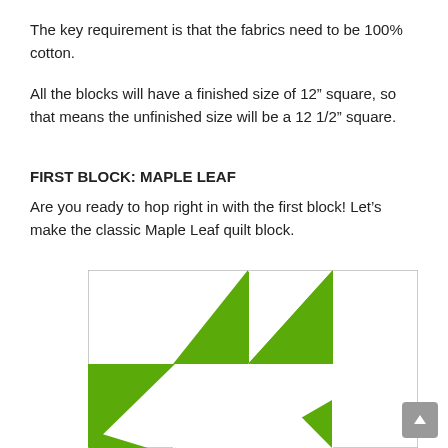The key requirement is that the fabrics need to be 100% cotton.
All the blocks will have a finished size of 12” square, so that means the unfinished size will be a 12 1/2” square.
FIRST BLOCK: MAPLE LEAF
Are you ready to hop right in with the first block! Let’s make the classic Maple Leaf quilt block.
[Figure (illustration): A partial view of a Maple Leaf quilt block made of green triangular fabric pieces on a white background, shown inside a bordered square frame.]